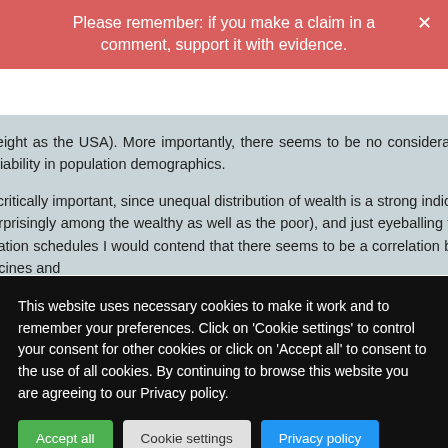Please remember: if you make a claim in a comment, support it with evidence.
given the same weight as the USA). More importantly, there seems to be no consideration of vaccination uptake rates or variability in population demographics.
This latter point is critically important, since unequal distribution of wealth is a strong indicator of poor health in a population (surprisingly among the wealthy as well as the poor), and just eyeballing the list of countries grouped by vaccination schedules I would contend that there seems to be a correlation between number of recommended vaccines and
This website uses necessary cookies to make it work and to remember your preferences. Click on 'Cookie settings' to control your consent for other cookies or click on 'Accept all' to consent to the use of all cookies. By continuing to browse this website you are agreeing to our Privacy policy.
Accept all | Cookie settings | Privacy policy